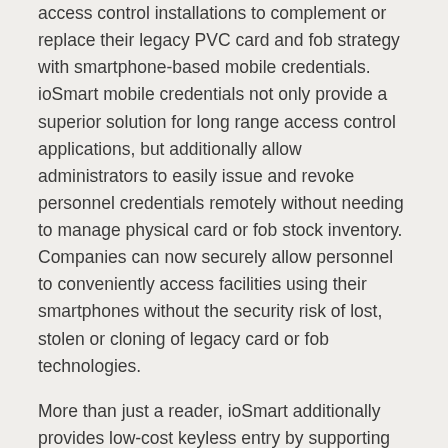access control installations to complement or replace their legacy PVC card and fob strategy with smartphone-based mobile credentials. ioSmart mobile credentials not only provide a superior solution for long range access control applications, but additionally allow administrators to easily issue and revoke personnel credentials remotely without needing to manage physical card or fob stock inventory. Companies can now securely allow personnel to conveniently access facilities using their smartphones without the security risk of lost, stolen or cloning of legacy card or fob technologies.
More than just a reader, ioSmart additionally provides low-cost keyless entry by supporting panel-less access control operation for offline door applications where panel-based architectures are cost prohibitive